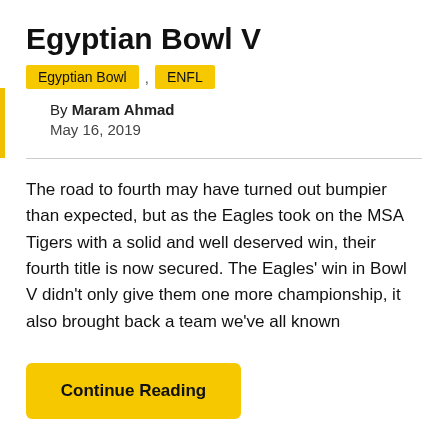Egyptian Bowl V
Egyptian Bowl , ENFL
By Maram Ahmad
May 16, 2019
The road to fourth may have turned out bumpier than expected, but as the Eagles took on the MSA Tigers with a solid and well deserved win, their fourth title is now secured. The Eagles' win in Bowl V didn't only give them one more championship, it also brought back a team we've all known
Continue Reading